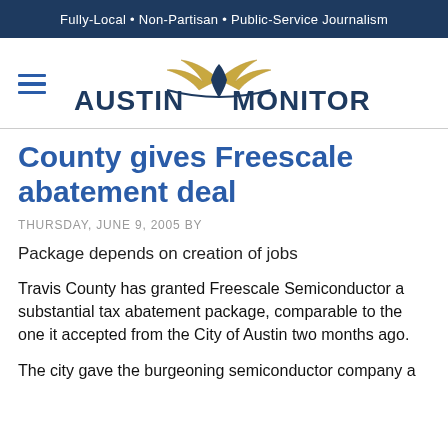Fully-Local · Non-Partisan · Public-Service Journalism
[Figure (logo): Austin Monitor logo with winged emblem and hamburger menu icon]
County gives Freescale abatement deal
THURSDAY, JUNE 9, 2005 BY
Package depends on creation of jobs
Travis County has granted Freescale Semiconductor a substantial tax abatement package, comparable to the one it accepted from the City of Austin two months ago.
The city gave the burgeoning semiconductor company a